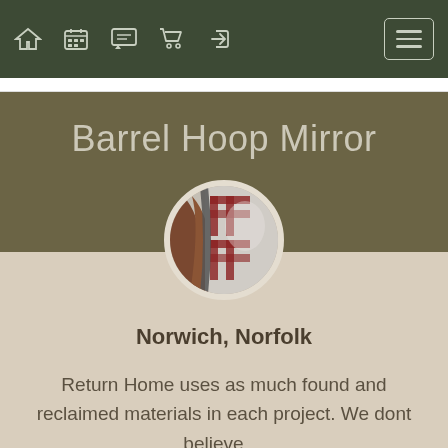Navigation bar with home, calendar, chat, cart, login icons and hamburger menu
Barrel Hoop Mirror
[Figure (photo): Circular cropped photo of a barrel hoop mirror showing wood and reddish plaid fabric reflection]
Norwich, Norfolk
Return Home uses as much found and reclaimed materials in each project. We dont believe ...